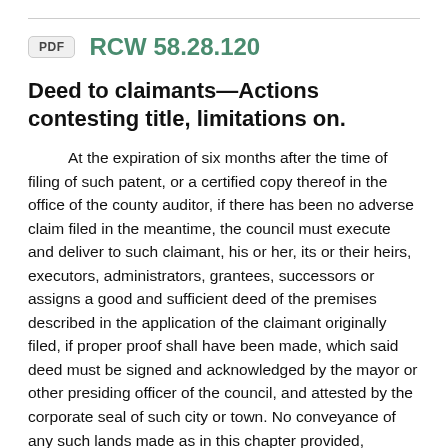PDF   RCW 58.28.120
Deed to claimants—Actions contesting title, limitations on.
At the expiration of six months after the time of filing of such patent, or a certified copy thereof in the office of the county auditor, if there has been no adverse claim filed in the meantime, the council must execute and deliver to such claimant, his or her, its or their heirs, executors, administrators, grantees, successors or assigns a good and sufficient deed of the premises described in the application of the claimant originally filed, if proper proof shall have been made, which said deed must be signed and acknowledged by the mayor or other presiding officer of the council, and attested by the corporate seal of such city or town. No conveyance of any such lands made as in this chapter provided, concludes the rights of third persons; but